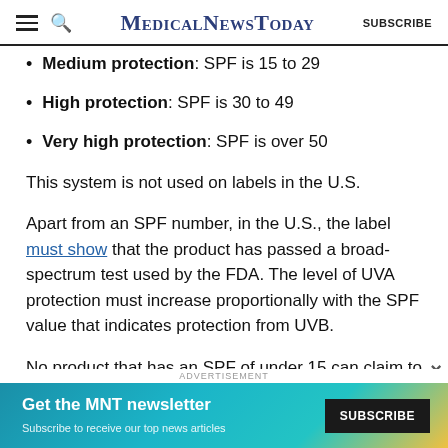MedicalNewsToday SUBSCRIBE
Medium protection: SPF is 15 to 29
High protection: SPF is 30 to 49
Very high protection: SPF is over 50
This system is not used on labels in the U.S.
Apart from an SPF number, in the U.S., the label must show that the product has passed a broad-spectrum test used by the FDA. The level of UVA protection must increase proportionally with the SPF value that indicates protection from UVB.
No product that has an SPF of under 15 can claim to
ADVERTISEMENT
Get the MNT newsletter Subscribe to receive our top news articles. SUBSCRIBE